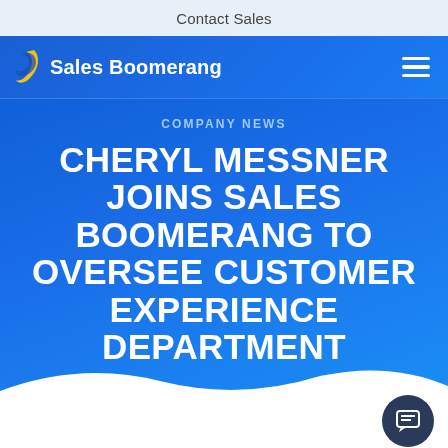Contact Sales
[Figure (logo): Sales Boomerang logo with navigation bar on blue gradient background, showing boomerang icon, 'Sales Boomerang' text in white, and hamburger menu icon]
COMPANY NEWS
CHERYL MESSNER JOINS SALES BOOMERANG TO OVERSEE CUSTOMER EXPERIENCE DEPARTMENT
Industry veteran will drive adoption and user success for lenders using Sales Boomerang and Mortgage Coach